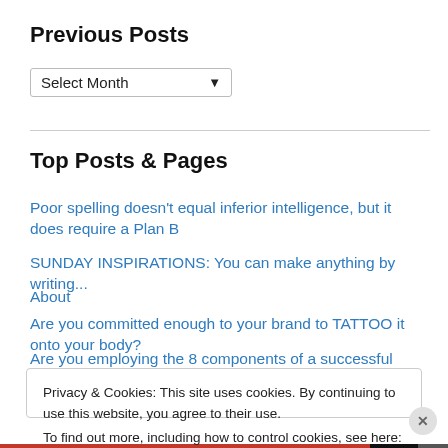Previous Posts
Select Month
Top Posts & Pages
Poor spelling doesn't equal inferior intelligence, but it does require a Plan B
SUNDAY INSPIRATIONS: You can make anything by writing...
About
Are you committed enough to your brand to TATTOO it onto your body?
Are you employing the 8 components of a successful book business?
Privacy & Cookies: This site uses cookies. By continuing to use this website, you agree to their use.
To find out more, including how to control cookies, see here: Cookie Policy
Close and accept